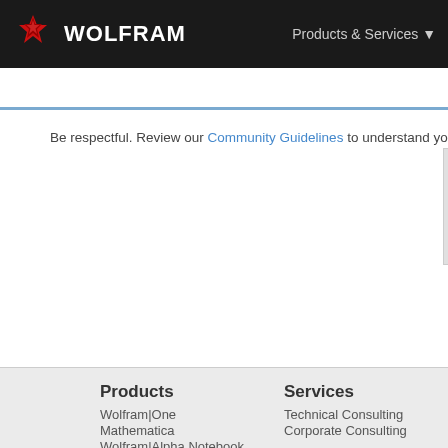WOLFRAM | Products & Services
Be respectful. Review our Community Guidelines to understand your role and responsib...
Products
Wolfram|One
Mathematica
Wolfram|Alpha Notebook Edition
Wolfram|Alpha Pro
Mobile Apps
Finance Platform
System Modeler
Wolfram Player
Wolfram Engine
WolframScript
Wolfram Workbench
Volume & Site Licensing
Services
Technical Consulting
Corporate Consulting
For Customers
Online Store
Product Registration
Product Downloads
Service Plans Benefits
User Portal
Your Account
Support